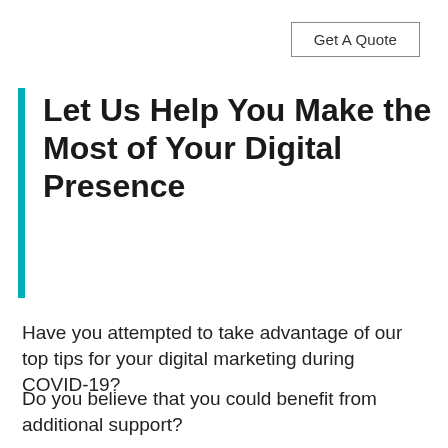Get A Quote
Let Us Help You Make the Most of Your Digital Presence
Have you attempted to take advantage of our top tips for your digital marketing during COVID-19?
Do you believe that you could benefit from additional support?